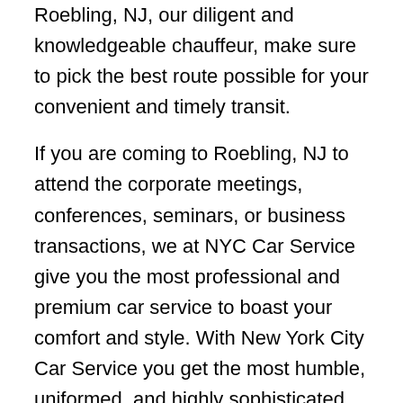Roebling, NJ, our diligent and knowledgeable chauffeur, make sure to pick the best route possible for your convenient and timely transit.
If you are coming to Roebling, NJ to attend the corporate meetings, conferences, seminars, or business transactions, we at NYC Car Service give you the most professional and premium car service to boast your comfort and style. With New York City Car Service you get the most humble, uniformed, and highly sophisticated chauffeur service with aggrandized convenience and private ride towards your destination.
It is quite a stressful and tedious task to rely on public vehicles or your car if you want to explore the